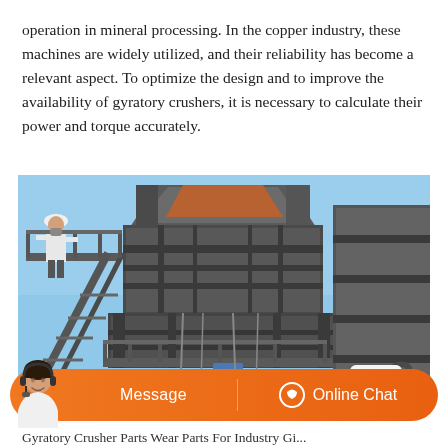operation in mineral processing. In the copper industry, these machines are widely utilized, and their reliability has become a relevant aspect. To optimize the design and to improve the availability of gyratory crushers, it is necessary to calculate their power and torque accurately.
[Figure (photo): Large industrial gyratory crusher machine at a mining facility, photographed from below at an angle. The massive steel structure shows multiple levels of metal platforms and staircases. A worker in white hard hat and safety gear is visible on an upper platform. Blue sky in background.]
Gyratory Crusher Parts Wear Parts For Industry Gi...